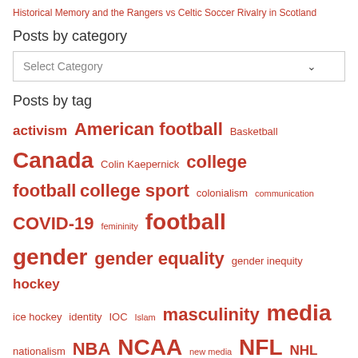Historical Memory and the Rangers vs Celtic Soccer Rivalry in Scotland
Posts by category
Select Category
Posts by tag
activism American football Basketball Canada Colin Kaepernick college football college sport colonialism communication COVID-19 femininity football gender gender equality gender inequity hockey ice hockey identity IOC Islam masculinity media nationalism NBA NCAA new media NFL NHL Olympics protest PyeongChang race racism